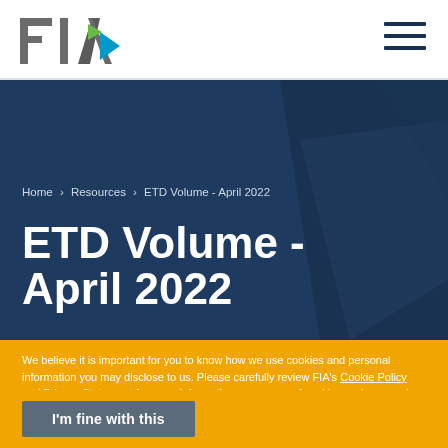[Figure (logo): FIA logo with grey and green/blue lettering]
Home › Resources › ETD Volume - April 2022
ETD Volume - April 2022
We believe it is important for you to know how we use cookies and personal information you may disclose to us. Please carefully review FIA's Cookie Policy and Privacy Statement for more information on our use of cookies and personal data. Please also review the Terms and Conditions that govern the use of our website. If you continue to use the site, we'll assume you're OK with our practices.
I'm fine with this